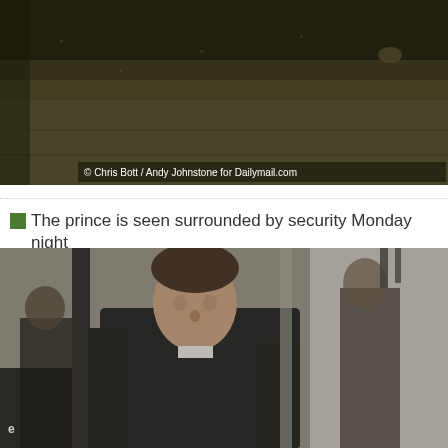[Figure (photo): Dark outdoor photo showing a road or tarmac area at night, with a small animal or figure visible in the upper right distance. Photo credit: © Chris Bott / Andy Johnstone for Dailymail.com appears in lower left.]
The prince is seen surrounded by security Monday night
[Figure (photo): Photo of a middle-aged man in a dark coat, appearing to walk through a doorway or aircraft door, with security personnel visible behind him.]